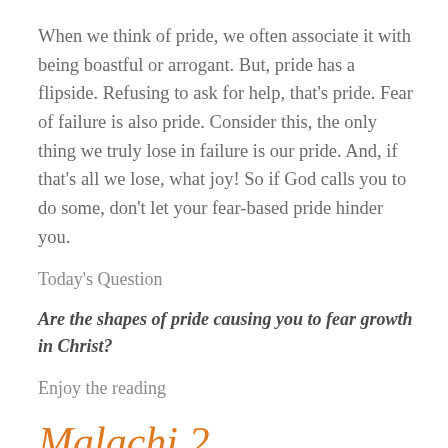When we think of pride, we often associate it with being boastful or arrogant. But, pride has a flipside. Refusing to ask for help, that's pride. Fear of failure is also pride. Consider this, the only thing we truly lose in failure is our pride. And, if that's all we lose, what joy! So if God calls you to do some, don't let your fear-based pride hinder you.
Today's Question
Are the shapes of pride causing you to fear growth in Christ?
Enjoy the reading
Malachi 2